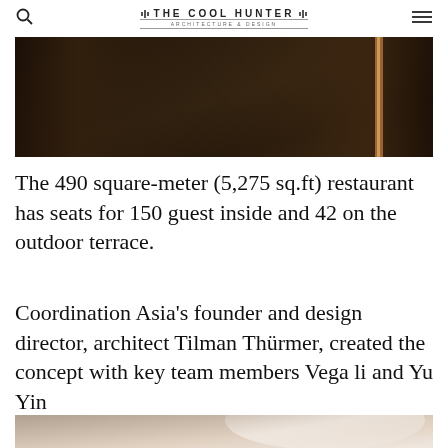THE COOL HUNTER
[Figure (photo): Interior photo showing dark wood herringbone/geometric patterned floor with warm lighting, viewed from above through open doors]
The 490 square-meter (5,275 sq.ft) restaurant has seats for 150 guest inside and 42 on the outdoor terrace.
Coordination Asia's founder and design director, architect Tilman Thürmer, created the concept with key team members Vega li and Yu Yin
[Figure (photo): Interior photo showing curved beige/taupe architectural surfaces with dramatic lighting]